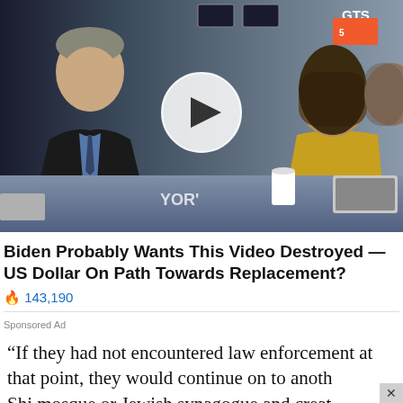[Figure (screenshot): Video thumbnail showing a man in a dark suit and blue tie seated at a blue desk in what appears to be a stock exchange studio, with two women (faces blurred) visible, a play button overlay in the center, and 'GTS' text in upper right corner. 'YOR' text visible on desk.]
Biden Probably Wants This Video Destroyed — US Dollar On Path Towards Replacement?
🔥 143,190
Sponsored Ad
“If they had not encountered law enforcement at that point, they would continue on to anoth Shi mosque or Jewish synagogue and creat